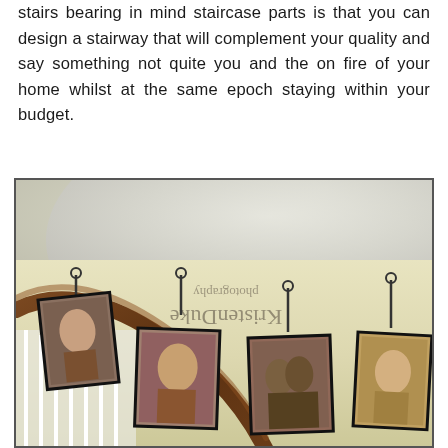stairs bearing in mind staircase parts is that you can design a stairway that will complement your quality and say something not quite you and the on fire of your home whilst at the same epoch staying within your budget.
[Figure (photo): Interior staircase with a wooden curved handrail and white balusters. Multiple framed portrait photographs are hung on the yellow wall along the staircase using decorative hooks and chains. A watermark reading 'KristenDuke photography' is overlaid on the image (shown mirrored/flipped).]